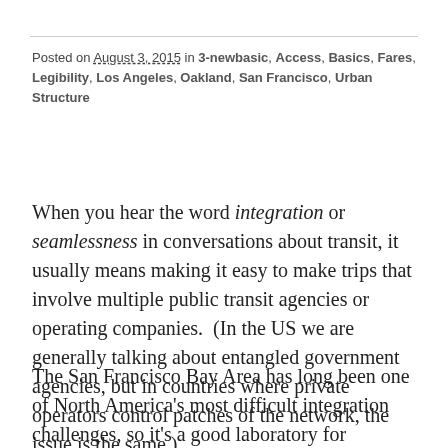Posted on August 3, 2015 in 3-newbasic, Access, Basics, Fares, Legibility, Los Angeles, Oakland, San Francisco, Urban Structure
When you hear the word integration or seamlessness in conversations about transit, it usually means making it easy to make trips that involve multiple public transit agencies or operating companies. (In the US we are generally talking about entangled government agencies, but in countries where private operators control patches of the network, the issue is the same.)
The San Francisco Bay Area has long been one of North America's most difficult integration challenges, so it's a good laboratory for exploring the issue. If you can get transit integration right in the Bay Area, you can probably do it anywhere. The Bay Area's particular